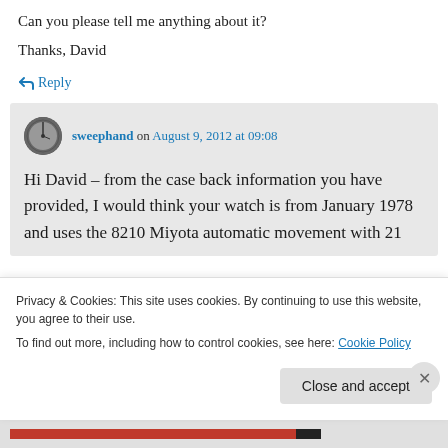Can you please tell me anything about it?
Thanks, David
↳ Reply
sweephand on August 9, 2012 at 09:08
Hi David – from the case back information you have provided, I would think your watch is from January 1978 and uses the 8210 Miyota automatic movement with 21
Privacy & Cookies: This site uses cookies. By continuing to use this website, you agree to their use.
To find out more, including how to control cookies, see here: Cookie Policy
Close and accept